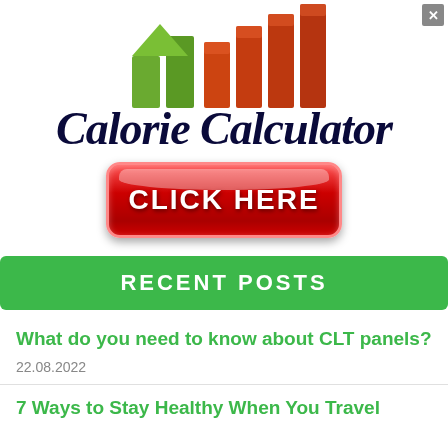[Figure (logo): Calorie Calculator logo with bar chart graphic showing ascending colored bars (green and orange/red) and the text 'Calorie Calculator' in dark navy bold italic serif font, with a red 'CLICK HERE' button below]
RECENT POSTS
What do you need to know about CLT panels?
22.08.2022
7 Ways to Stay Healthy When You Travel